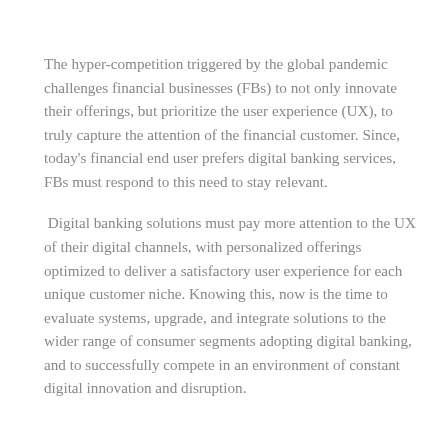The hyper-competition triggered by the global pandemic challenges financial businesses (FBs) to not only innovate their offerings, but prioritize the user experience (UX), to truly capture the attention of the financial customer. Since, today's financial end user prefers digital banking services, FBs must respond to this need to stay relevant.
Digital banking solutions must pay more attention to the UX of their digital channels, with personalized offerings optimized to deliver a satisfactory user experience for each unique customer niche. Knowing this, now is the time to evaluate systems, upgrade, and integrate solutions to the wider range of consumer segments adopting digital banking, and to successfully compete in an environment of constant digital innovation and disruption.